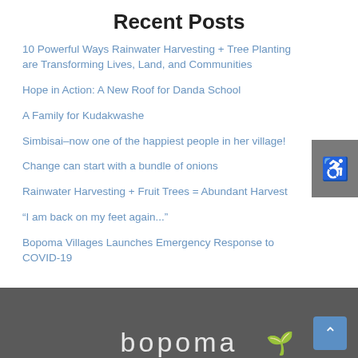Recent Posts
10 Powerful Ways Rainwater Harvesting + Tree Planting are Transforming Lives, Land, and Communities
Hope in Action: A New Roof for Danda School
A Family for Kudakwashe
Simbisai–now one of the happiest people in her village!
Change can start with a bundle of onions
Rainwater Harvesting + Fruit Trees = Abundant Harvest
“I am back on my feet again...”
Bopoma Villages Launches Emergency Response to COVID-19
[Figure (logo): White text logo on dark grey background reading 'bopoma' with a plant icon]